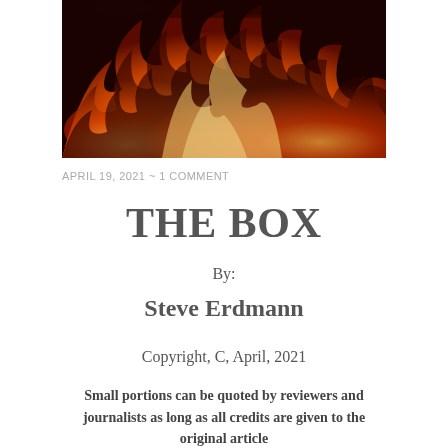[Figure (photo): Close-up photo of orange and red flames against a dark background]
APRIL 19, 2021  ~  1 COMMENT
THE BOX
By:
Steve Erdmann
Copyright, C, April, 2021
Small portions can be quoted by reviewers and journalists as long as all credits are given to the original article